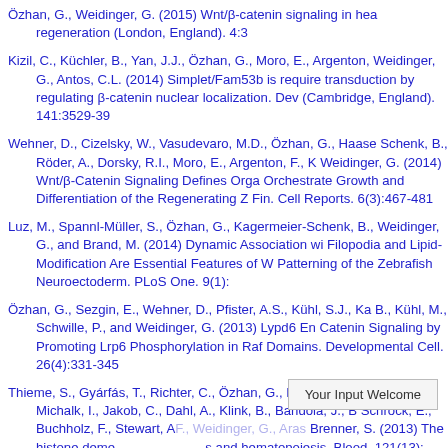Özhan, G., Weidinger, G. (2015) Wnt/β-catenin signaling in heart regeneration (London, England). 4:3
Kizil, C., Küchler, B., Yan, J.J., Özhan, G., Moro, E., Argenton, …, Weidinger, G., Antos, C.L. (2014) Simplet/Fam53b is required for … transduction by regulating β-catenin nuclear localization. Dev… (Cambridge, England). 141:3529-39
Wehner, D., Cizelsky, W., Vasudevaro, M.D., Özhan, G., Haase…, Schenk, B., Röder, A., Dorsky, R.I., Moro, E., Argenton, F., K…, Weidinger, G. (2014) Wnt/β-Catenin Signaling Defines Orga… Orchestrate Growth and Differentiation of the Regenerating Z… Fin. Cell Reports. 6(3):467-481
Luz, M., Spannl-Müller, S., Özhan, G., Kagermeier-Schenk, B.,…, Weidinger, G., and Brand, M. (2014) Dynamic Association wi… Filopodia and Lipid-Modification Are Essential Features of W… Patterning of the Zebrafish Neuroectoderm. PLoS One. 9(1):…
Özhan, G., Sezgin, E., Wehner, D., Pfister, A.S., Kühl, S.J., Ka…, B., Kühl, M., Schwille, P., and Weidinger, G. (2013) Lypd6 En… Catenin Signaling by Promoting Lrp6 Phosphorylation in Raf… Domains. Developmental Cell. 26(4):331-345
Thieme, S., Gyárfás, T., Richter, C., Özhan, G., Fu, J., Alexopu…, M.H., Michalk, I., Jakob, C., Dahl, A., Klink, B., Bandola, J., B…, Schröck, E., Buchholz, F., Stewart, A.F., Weidinger, G., Aras…, Brenner, S. (2013) The histone deme… … s… and hematopoiesis. Blood. 121(13):…
Your Input Welcome